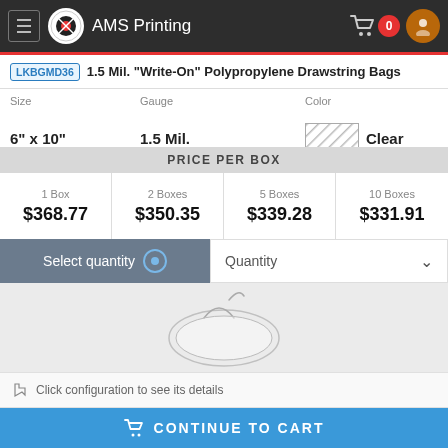AMS Printing
LKBGMD36 1.5 Mil. "Write-On" Polypropylene Drawstring Bags
| Size | Gauge | Color | Quantity / Box |
| --- | --- | --- | --- |
| 6" x 10" | 1.5 Mil. | Clear | 2,000 |
PRICE PER BOX
| 1 Box | 2 Boxes | 5 Boxes | 10 Boxes |
| --- | --- | --- | --- |
| $368.77 | $350.35 | $339.28 | $331.91 |
Select quantity
Quantity
[Figure (photo): Product photo of clear polypropylene drawstring bag, light gray background]
Click configuration to see its details
CONTINUE TO CART